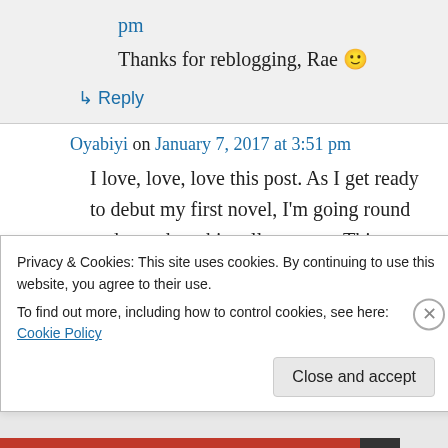pm
Thanks for reblogging, Rae 🙂
↳ Reply
Oyabiyi on January 7, 2017 at 3:51 pm
I love, love, love this post. As I get ready to debut my first novel, I'm going round and round on this rollercoaster. This post put a lot of things in perspective for me. Thanks for sharing.
Privacy & Cookies: This site uses cookies. By continuing to use this website, you agree to their use.
To find out more, including how to control cookies, see here: Cookie Policy
Close and accept